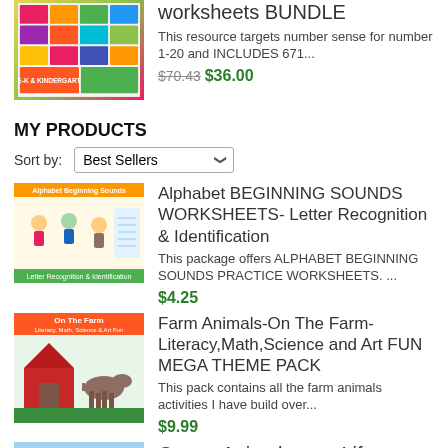[Figure (illustration): Thumbnail for worksheets bundle product - colorful grid of worksheet covers]
WORKSHEETS (PRE-K& AND K)- 672 worksheets BUNDLE
This resource targets number sense for number 1-20 and INCLUDES 671...
$70.43 $36.00
MY PRODUCTS
Sort by: Best Sellers
[Figure (illustration): Thumbnail for Alphabet Beginning Sounds Worksheets - colorful cover with letters and kids]
Alphabet BEGINNING SOUNDS WORKSHEETS- Letter Recognition & Identification
This package offers ALPHABET BEGINNING SOUNDS PRACTICE WORKSHEETS. ...
$4.25
[Figure (illustration): Thumbnail for On The Farm Mega Theme Pack - cover with farm animals]
Farm Animals-On The Farm-Literacy,Math,Science and Art FUN MEGA THEME PACK
This pack contains all the farm animals activities I have build over...
$9.99
[Figure (illustration): Thumbnail for Ocean Animals sea Life product]
Ocean Animals, sea Life-Literacy,